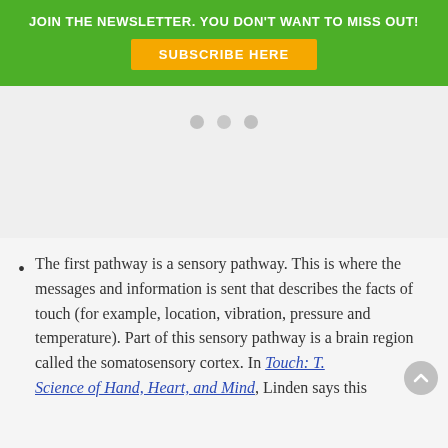JOIN THE NEWSLETTER. YOU DON'T WANT TO MISS OUT!
SUBSCRIBE HERE
[Figure (other): Three grey dots indicating a slideshow or image carousel placeholder area]
The first pathway is a sensory pathway. This is where the messages and information is sent that describes the facts of touch (for example, location, vibration, pressure and temperature). Part of this sensory pathway is a brain region called the somatosensory cortex. In Touch: The Science of Hand, Heart, and Mind, Linden says this